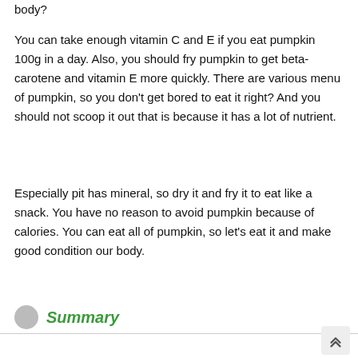body?
You can take enough vitamin C and E if you eat pumpkin 100g in a day. Also, you should fry pumpkin to get beta-carotene and vitamin E more quickly. There are various menu of pumpkin, so you don’t get bored to eat it right? And you should not scoop it out that is because it has a lot of nutrient.
Especially pit has mineral, so dry it and fry it to eat like a snack. You have no reason to avoid pumpkin because of calories. You can eat all of pumpkin, so let’s eat it and make good condition our body.
Summary